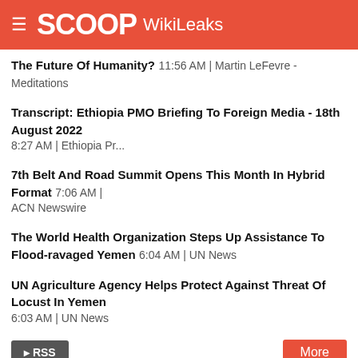SCOOP WikiLeaks
The Future Of Humanity? 11:56 AM | Martin LeFevre - Meditations
Transcript: Ethiopia PMO Briefing To Foreign Media - 18th August 2022 8:27 AM | Ethiopia Pr...
7th Belt And Road Summit Opens This Month In Hybrid Format 7:06 AM | ACN Newswire
The World Health Organization Steps Up Assistance To Flood-ravaged Yemen 6:04 AM | UN News
UN Agriculture Agency Helps Protect Against Threat Of Locust In Yemen 6:03 AM | UN News
RSS | More
Pacific.Scoop | Cafe Pacific | PMC
Under-Secretary To Attend Regional Fisheries Meeti... 10:34 AM | admin
Civic Award Surprises And Humbles Pasifika Leader 17 Aug | admin
Solomon Islands Receives Additional Critical Healt... 17 Aug | admin
NZDF, MPI And Fiji Agencies Begin Fishing Monitori... 16 Aug | admin